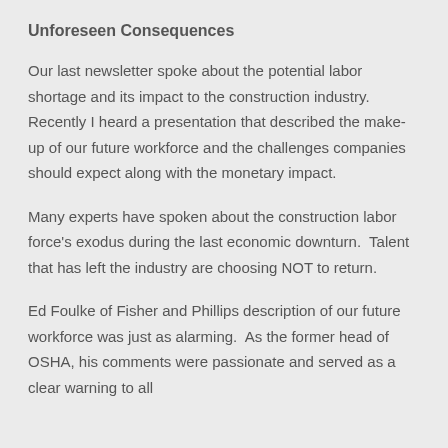Unforeseen Consequences
Our last newsletter spoke about the potential labor shortage and its impact to the construction industry.  Recently I heard a presentation that described the make-up of our future workforce and the challenges companies should expect along with the monetary impact.
Many experts have spoken about the construction labor force's exodus during the last economic downturn.  Talent that has left the industry are choosing NOT to return.
Ed Foulke of Fisher and Phillips description of our future workforce was just as alarming.  As the former head of OSHA, his comments were passionate and served as a clear warning to all